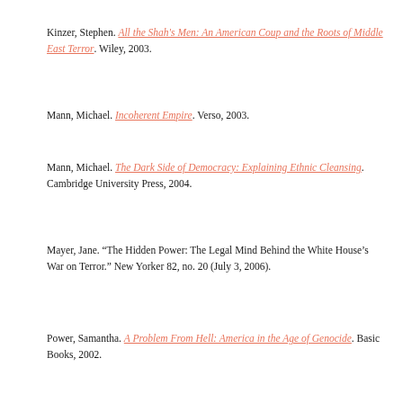Kinzer, Stephen. All the Shah's Men: An American Coup and the Roots of Middle East Terror. Wiley, 2003.
Mann, Michael. Incoherent Empire. Verso, 2003.
Mann, Michael. The Dark Side of Democracy: Explaining Ethnic Cleansing. Cambridge University Press, 2004.
Mayer, Jane. "The Hidden Power: The Legal Mind Behind the White House's War on Terror." New Yorker 82, no. 20 (July 3, 2006).
Power, Samantha. A Problem From Hell: America in the Age of Genocide. Basic Books, 2002.
Roseman, Nils. "Privatized War and Corporate Impunity." Peace Review 17, no. 2 & 3 (April-Sept. 2005): 273-287.
Silverstein, Ken. "The Minister of Civil War: Bayan Jabr, Paul